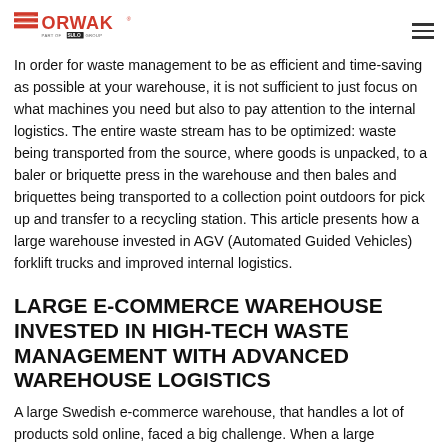ORWAK - Part of SULO GROUP
In order for waste management to be as efficient and time-saving as possible at your warehouse, it is not sufficient to just focus on what machines you need but also to pay attention to the internal logistics. The entire waste stream has to be optimized: waste being transported from the source, where goods is unpacked, to a baler or briquette press in the warehouse and then bales and briquettes being transported to a collection point outdoors for pick up and transfer to a recycling station. This article presents how a large warehouse invested in AGV (Automated Guided Vehicles) forklift trucks and improved internal logistics.
LARGE E-COMMERCE WAREHOUSE INVESTED IN HIGH-TECH WASTE MANAGEMENT WITH ADVANCED WAREHOUSE LOGISTICS
A large Swedish e-commerce warehouse, that handles a lot of products sold online, faced a big challenge. When a large